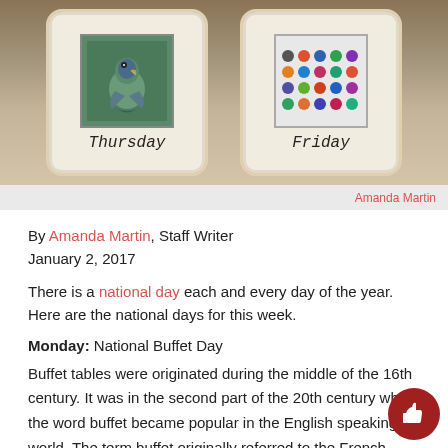[Figure (photo): Two decorative calendar cards on a wooden surface. Left card shows a bird photo labeled 'Thursday', right card shows colorful dot stickers labeled 'Friday'.]
Amanda Martin
By Amanda Martin, Staff Writer
January 2, 2017
There is a national day each and every day of the year. Here are the national days for this week.
Monday: National Buffet Day
Buffet tables were originated during the middle of the 16th century. It was in the second part of the 20th century when the word buffet became popular in the English speaking world. The term buffet originally referred to the French sideboard furniture where food was served from.